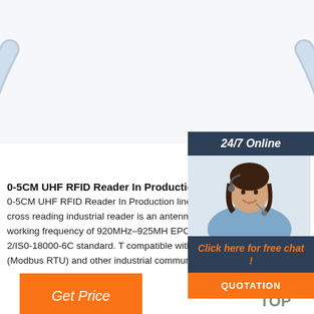[Figure (photo): RFID wristband/flex antenna product photo on white background, showing a segmented pale blue flexible band with a metallic clasp connector in the center]
[Figure (photo): 24/7 Online chat widget with dark header, smiling female customer service agent with headset, orange chat and quotation call-to-action buttons]
0-5CM UHF RFID Reader In Production Line Manag
0-5CM UHF RFID Reader In Production line manag Prevent cross reading industrial reader is an antenn reader with a working frequency of 920MHz–925MH EPC Global Class l Gen 2/IS0-18000-6C standard. T compatible with RS232, RS485 (Modbus RTU) and other industrial communication interfaces ...
[Figure (logo): TOP icon with orange dotted triangle above the word TOP in gray]
Get Price